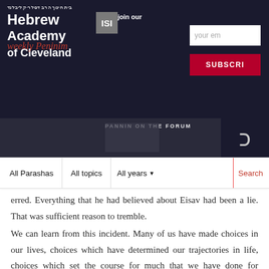Hebrew Academy of Cleveland — Weekly Peninim — Join our newsletter
erred. Everything that he had believed about Eisav had been a lie. That was sufficient reason to tremble.
We can learn from this incident. Many of us have made choices in our lives, choices which have determined our trajectories in life, choices which set the course for much that we have done for ourselves and for others. We have married spouses based upon our choices and raised our families